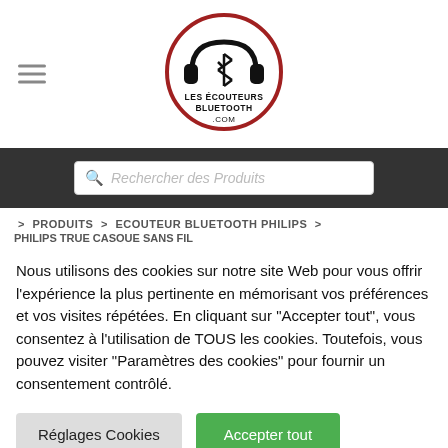[Figure (logo): Les Écouteurs Bluetooth .com logo — circular red border with headphones and Bluetooth symbol icon, text LES ÉCOUTEURS BLUETOOTH .COM inside]
[Figure (other): Search bar with placeholder text 'Rechercher des Produits' on dark background]
> PRODUITS > ECOUTEUR BLUETOOTH PHILIPS > PHILIPS TRUE CASQUE SANS FIL
Nous utilisons des cookies sur notre site Web pour vous offrir l'expérience la plus pertinente en mémorisant vos préférences et vos visites répétées. En cliquant sur "Accepter tout", vous consentez à l'utilisation de TOUS les cookies. Toutefois, vous pouvez visiter "Paramètres des cookies" pour fournir un consentement contrôlé.
Réglages Cookies | Accepter tout